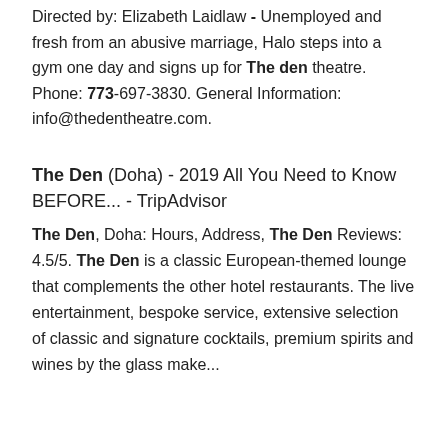Directed by: Elizabeth Laidlaw - Unemployed and fresh from an abusive marriage, Halo steps into a gym one day and signs up for The den theatre. Phone: 773-697-3830. General Information: info@thedentheatre.com.
The Den (Doha) - 2019 All You Need to Know BEFORE... - TripAdvisor
The Den, Doha: Hours, Address, The Den Reviews: 4.5/5. The Den is a classic European-themed lounge that complements the other hotel restaurants. The live entertainment, bespoke service, extensive selection of classic and signature cocktails, premium spirits and wines by the glass make...